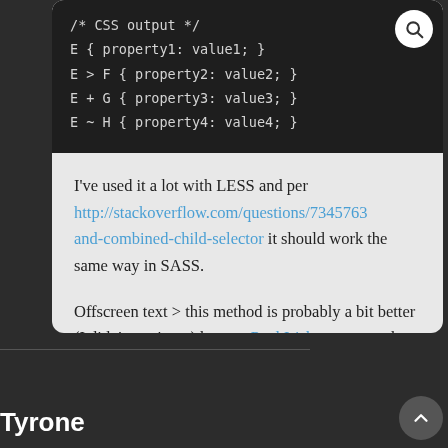[Figure (screenshot): Dark code block showing CSS output with selectors: E { property1: value1; }, E > F { property2: value2; }, E + G { property3: value3; }, E ~ H { property4: value4; }]
I've used it a lot with LESS and per http://stackoverflow.com/questions/7345763 and-combined-child-selector it should work the same way in SASS.
Offscreen text > this method is probably a bit better (I didn't test it yet) but see Paul Irish comment about it.
Tyrone